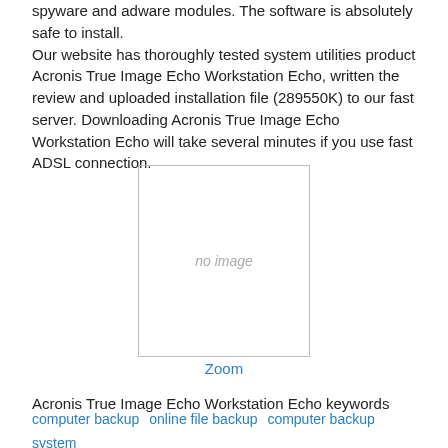spyware and adware modules. The software is absolutely safe to install.
Our website has thoroughly tested system utilities product Acronis True Image Echo Workstation Echo, written the review and uploaded installation file (289550K) to our fast server. Downloading Acronis True Image Echo Workstation Echo will take several minutes if you use fast ADSL connection.
[Figure (other): No image placeholder box with text 'no image' and a 'Zoom' link below]
Acronis True Image Echo Workstation Echo keywords
computer backup   online file backup   computer backup system   disk backup and restore   hard disk clon
Alternative/similar
Acronis True Image Echo Workstation Echo
Best solution for centralised backup and recovery in home and SMB environments.